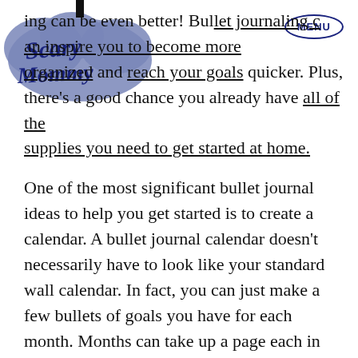[Figure (logo): Scary Mommy logo — blue cloud-shaped text logo in top left corner]
MENU
ing can be even better! Bullet journaling can inspire you to become more organized and reach your goals quicker. Plus, there's a good chance you already have all of the supplies you need to get started at home.

One of the most significant bullet journal ideas to help you get started is to create a calendar. A bullet journal calendar doesn't necessarily have to look like your standard wall calendar. In fact, you can just make a few bullets of goals you have for each month. Months can take up a page each in your journal, or you can even use one page for each quarter if you're looking to